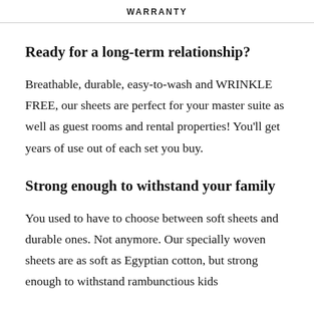WARRANTY
Ready for a long-term relationship?
Breathable, durable, easy-to-wash and WRINKLE FREE, our sheets are perfect for your master suite as well as guest rooms and rental properties! You'll get years of use out of each set you buy.
Strong enough to withstand your family
You used to have to choose between soft sheets and durable ones. Not anymore. Our specially woven sheets are as soft as Egyptian cotton, but strong enough to withstand rambunctious kids